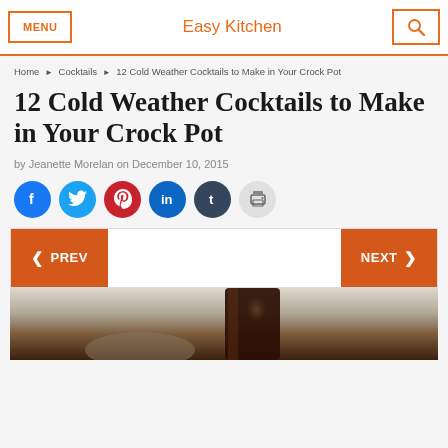MENU | Easy Kitchen | [search]
Home ▶ Cocktails ▶ 12 Cold Weather Cocktails to Make in Your Crock Pot
12 Cold Weather Cocktails to Make in Your Crock Pot
by Jeanette Morelan on December 10, 2015
[Figure (infographic): Social share icons: Facebook, Twitter, Pinterest, LinkedIn, Tumblr, Print]
[Figure (infographic): Navigation bar with PREV and NEXT buttons in orange]
[Figure (photo): Partial photo of cocktail drink in a glass, blurred background]